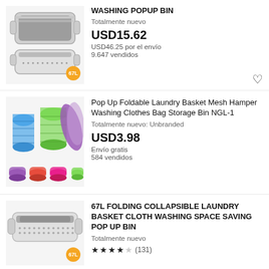[Figure (photo): Collapsible grey laundry basket with 67L badge]
WASHING POPUP BIN
Totalmente nuevo
USD15.62
USD46.25 por el envío
9.647 vendidos
[Figure (photo): Colorful pop-up mesh laundry baskets in multiple colors]
Pop Up Foldable Laundry Basket Mesh Hamper Washing Clothes Bag Storage Bin NGL-1
Totalmente nuevo: Unbranded
USD3.98
Envío gratis
584 vendidos
[Figure (photo): Grey collapsible laundry basket with 67L badge]
67L FOLDING COLLAPSIBLE LAUNDRY BASKET CLOTH WASHING SPACE SAVING POP UP BIN
Totalmente nuevo
★★★★ (131)